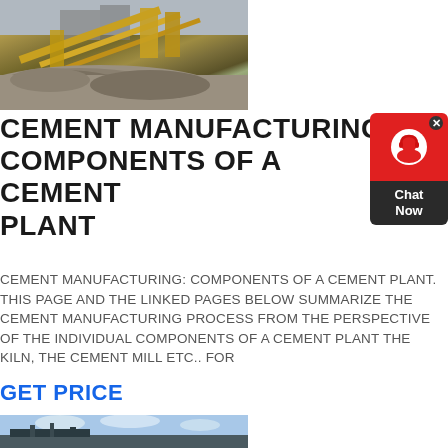[Figure (photo): Industrial quarry/crushing equipment with yellow conveyor belts and machinery on a gravel mound]
CEMENT MANUFACTURING COMPONENTS OF A CEMENT PLANT
[Figure (other): Chat Now widget — red top with headset icon, dark bottom with 'Chat Now' text, close X button]
CEMENT MANUFACTURING: COMPONENTS OF A CEMENT PLANT. THIS PAGE AND THE LINKED PAGES BELOW SUMMARIZE THE CEMENT MANUFACTURING PROCESS FROM THE PERSPECTIVE OF THE INDIVIDUAL COMPONENTS OF A CEMENT PLANT THE KILN, THE CEMENT MILL ETC.. FOR
GET PRICE
[Figure (photo): Industrial cement plant facility with equipment against blue sky with clouds]